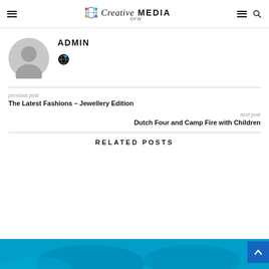Creative DFW MEDIA
ADMIN
previous post
The Latest Fashions – Jewellery Edition
next post
Dutch Four and Camp Fire with Children
RELATED POSTS
[Figure (photo): Blue toned image at bottom of page, partially visible]